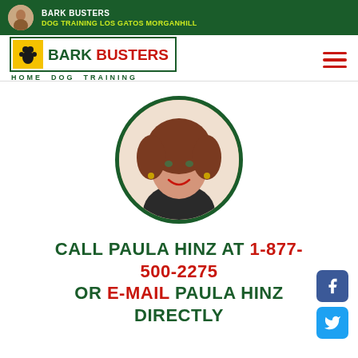BARK BUSTERS DOG TRAINING LOS GATOS MORGANHILL
[Figure (logo): Bark Busters Home Dog Training logo with paw print icon]
[Figure (photo): Circular portrait photo of Paula Hinz with green border]
CALL PAULA HINZ AT 1-877-500-2275 OR E-MAIL PAULA HINZ DIRECTLY